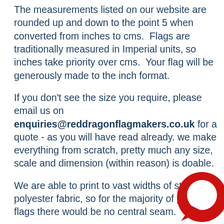The measurements listed on our website are rounded up and down to the point 5 when converted from inches to cms.  Flags are traditionally measured in Imperial units, so inches take priority over cms.  Your flag will be generously made to the inch format.
If you don't see the size you require, please email us on enquiries@reddragonflagmakers.co.uk for a quote - as you will have read already. we make everything from scratch, pretty much any size, scale and dimension (within reason) is doable.
We are able to print to vast widths of strong knit polyester fabric, so for the majority of printed flags there would be no central seam.
For the stitched and half and half versions, please note that the MOD specification fabric is only available in a m[aximum] of 1.5m, so if the flag you require is bigger than the[width] allows, a central seam (either vertically or horizontally) will [be included].
[Figure (illustration): Red circle chat bubble icon in the bottom right corner]